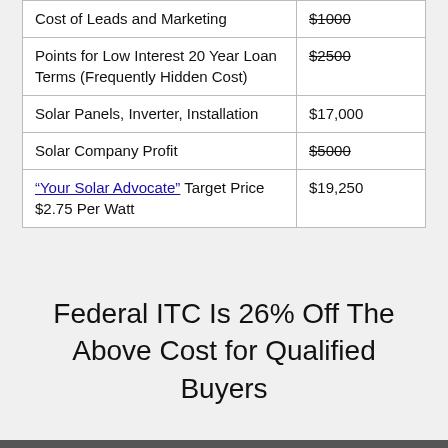| Cost of Leads and Marketing | $1000 |
| Points for Low Interest 20 Year Loan Terms (Frequently Hidden Cost) | $2500 |
| Solar Panels, Inverter, Installation | $17,000 |
| Solar Company Profit | $5000 |
| "Your Solar Advocate" Target Price $2.75 Per Watt | $19,250 |
Federal ITC Is 26% Off The Above Cost for Qualified Buyers